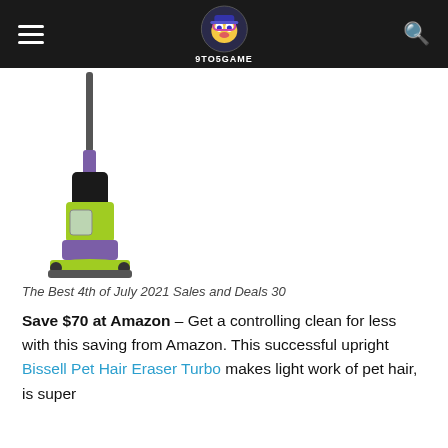9TO5GAME
[Figure (photo): Green and purple Bissell Pet Hair Eraser Turbo upright vacuum cleaner on white background]
The Best 4th of July 2021 Sales and Deals 30
Save $70 at Amazon – Get a controlling clean for less with this saving from Amazon. This successful upright Bissell Pet Hair Eraser Turbo makes light work of pet hair, is super